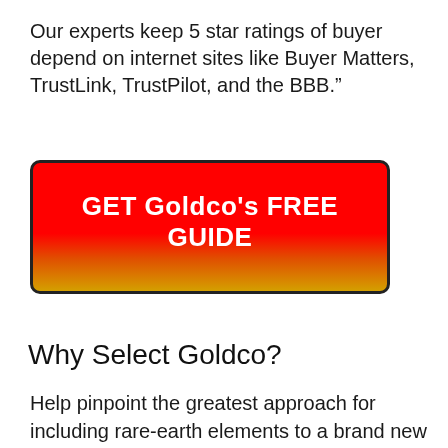Our experts keep 5 star ratings of buyer depend on internet sites like Buyer Matters, TrustLink, TrustPilot, and the BBB.”
[Figure (other): Red to gold gradient button with text: GET Goldco's FREE GUIDE]
Why Select Goldco?
Help pinpoint the greatest approach for including rare-earth elements to a brand new or existing IRA account, as well as provide the information as well as information needed to choose what types of gold and silvers make good sense for the customer Work directly along with the provider that